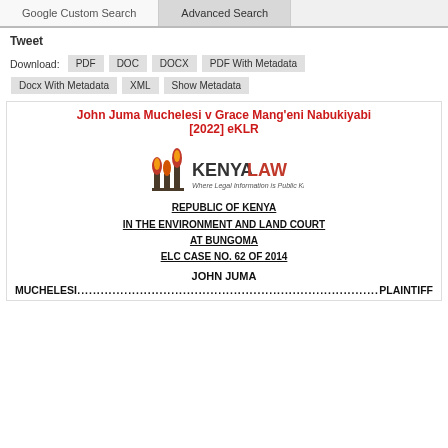Google Custom Search | Advanced Search
Tweet
Download: PDF  DOC  DOCX  PDF With Metadata  Docx With Metadata  XML  Show Metadata
John Juma Muchelesi v Grace Mang'eni Nabukiyabi [2022] eKLR
[Figure (logo): Kenya Law logo with text 'KENYA LAW' and tagline 'Where Legal Information is Public Knowledge']
REPUBLIC OF KENYA
IN THE ENVIRONMENT AND LAND COURT
AT BUNGOMA
ELC CASE NO. 62 OF 2014
JOHN JUMA MUCHELESI....................................................................PLAINTIFF